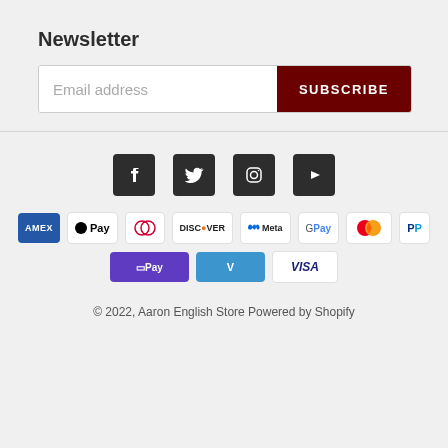Newsletter
[Figure (screenshot): Email address input field with dark red SUBSCRIBE button]
[Figure (infographic): Social media icons: Facebook, Twitter, Instagram, YouTube]
[Figure (infographic): Payment method badges: American Express, Apple Pay, Diners Club, Discover, Meta Pay, Google Pay, Mastercard, PayPal, Shop Pay, Venmo, Visa]
© 2022, Aaron English Store Powered by Shopify